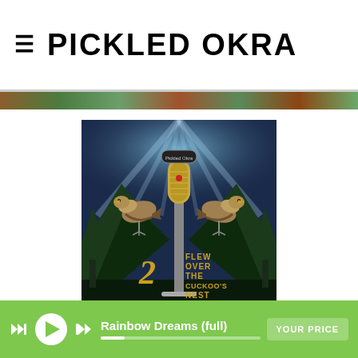≡ PICKLED OKRA
[Figure (illustration): Album cover art for '2 Flew Over the Cuckoo's Nest' by Pickled Okra. Shows two birds perched on either side of a vintage gold microphone against a dark mountainous background with rays of light. The number '2' and text 'FLEW OVER THE CUCKOO'S NEST' appear at the bottom of the image.]
2 Flew Over the Cuckoo's Nest: Pickled
Rainbow Dreams (full) YOUR PRICE